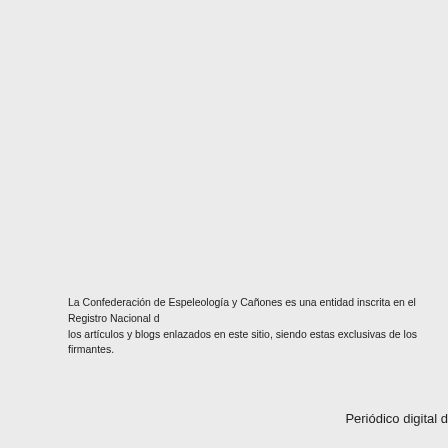La Confederación de Espeleología y Cañones es una entidad inscrita en el Registro Nacional de los artículos y blogs enlazados en este sitio, siendo estas exclusivas de los firmantes.
Periódico digital d